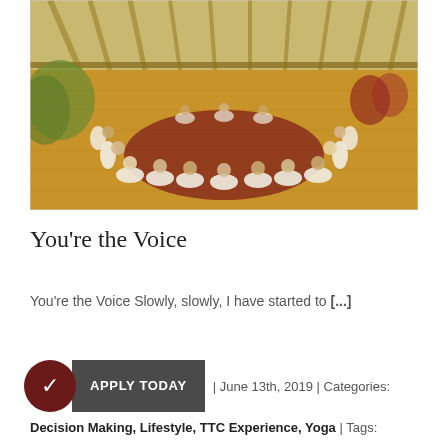[Figure (photo): A group of people dressed in white sitting in a large circle on yoga mats on an open-air wooden floor pavilion with a bamboo/wood roof, surrounded by trees and natural light. Appears to be a yoga retreat or teacher training circle.]
You're the Voice
You're the Voice Slowly, slowly, I have started to [...]
| June 13th, 2019 | Categories:
Decision Making, Lifestyle, TTC Experience, Yoga | Tags: